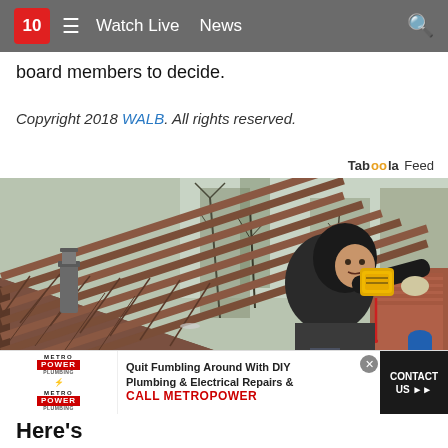10  ≡  Watch Live  News  🔍
board members to decide.
Copyright 2018 WALB. All rights reserved.
Taboola Feed
[Figure (photo): A man in a dark hoodie kneeling on a rooftop, holding a yellow tape measure over the edge of a gutter, with brown asphalt shingles visible and bare trees and a brick house in the background.]
[Figure (infographic): MetroPower advertisement banner: 'Quit Fumbling Around With DIY Plumbing & Electrical Repairs & CALL METROPOWER' with CONTACT US button.]
Here's